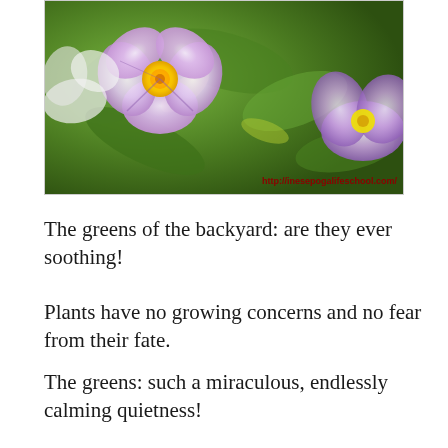[Figure (photo): Close-up photo of light purple/pink pansy flowers with yellow centers, surrounded by green foliage. A watermark URL 'http://inesepogalifeschool.com/' appears in dark red at the bottom right.]
The greens of the backyard: are they ever soothing!
Plants have no growing concerns and no fear from their fate.
The greens: such a miraculous, endlessly calming quietness!
This must be the secret of growing: